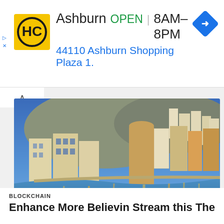[Figure (infographic): HC (Hardee's/similar) business ad banner showing logo, business name Ashburn, OPEN status, hours 8AM-8PM, address 44110 Ashburn Shopping Plaza 1., and navigation arrow icon]
[Figure (photo): Aerial/wide view of a Mediterranean coastal town at dusk/night, likely Malta. Buildings with warm golden lights reflected in blue harbor water, several small boats visible, rocky hillside in background.]
BLOCKCHAIN
Enhance More Believin Stream this The...